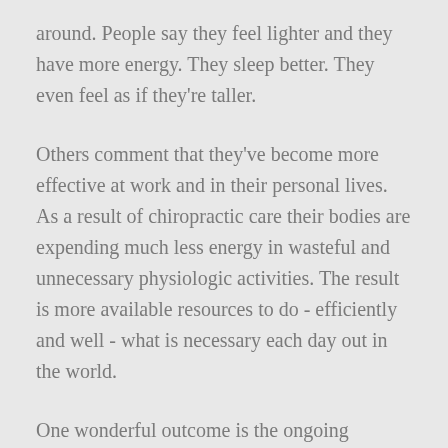around. People say they feel lighter and they have more energy. They sleep better. They even feel as if they're taller.
Others comment that they've become more effective at work and in their personal lives. As a result of chiropractic care their bodies are expending much less energy in wasteful and unnecessary physiologic activities. The result is more available resources to do - efficiently and well - what is necessary each day out in the world.
One wonderful outcome is the ongoing recovery of the youthful appearance and outlook we always want to maintain.